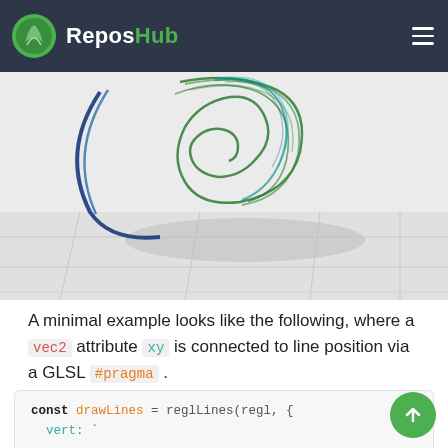ReposHub
[Figure (illustration): 3D visualization of swirling line strands in blue and green forming a tornado/vortex shape over a tiled floor with shadow]
A minimal example looks like the following, where a vec2 attribute xy is connected to line position via a GLSL #pragma .
const drawLines = reglLines(regl, {
  vert: `
    precision highp float;

    #pragma lines: attribute vec2 xy;
    #pragma lines: position = getPosition(xy);
    vec4 getPosition(vec2 xy) { return vec